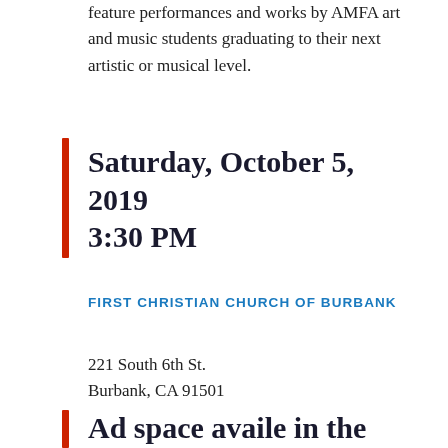feature performances and works by AMFA art and music students graduating to their next artistic or musical level.
Saturday, October 5, 2019 3:30 PM
FIRST CHRISTIAN CHURCH OF BURBANK
221 South 6th St.
Burbank, CA 91501
Ad space availe in the